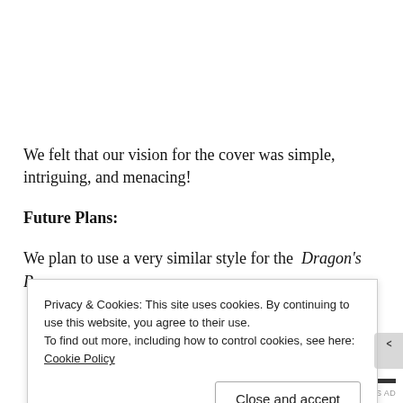We felt that our vision for the cover was simple, intriguing, and menacing!
Future Plans:
We plan to use a very similar style for the Dragon's Bane cover.
Privacy & Cookies: This site uses cookies. By continuing to use this website, you agree to their use.
To find out more, including how to control cookies, see here: Cookie Policy
Close and accept